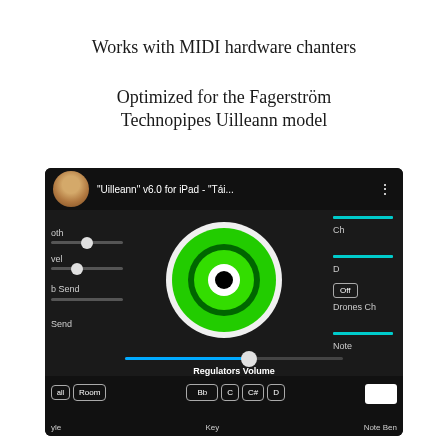Works with MIDI hardware chanters
Optimized for the Fagerström Technopipes Uilleann model
[Figure (screenshot): Screenshot of the 'Uilleann' v6.0 for iPad - 'Tái...' app interface showing a circular green knob/sensor in the center, sliders on the left panel, cyan bars on the right panel, an 'Off' button, 'Drones Ch' label, 'Regulators Volume' slider at the bottom center, key buttons (Bb, C, C#, D) at the bottom, and 'Note Bend' label at the bottom right.]